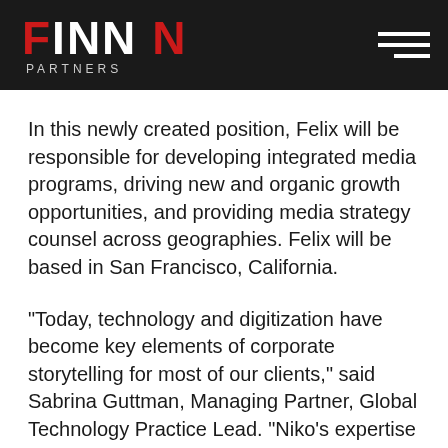FINN PARTNERS
In this newly created position, Felix will be responsible for developing integrated media programs, driving new and organic growth opportunities, and providing media strategy counsel across geographies. Felix will be based in San Francisco, California.
“Today, technology and digitization have become key elements of corporate storytelling for most of our clients,” said Sabrina Guttman, Managing Partner, Global Technology Practice Lead. “Niko’s expertise in technology storytelling, and his in-depth knowledge of the media landscape, will be a great benefit not only to our Technology Practice